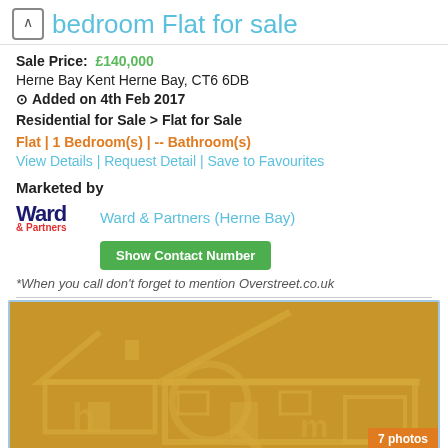bedroom Flat for sale
Sale Price: £140,000
Herne Bay Kent Herne Bay, CT6 6DB
⊙ Added on 4th Feb 2017
Residential for Sale > Flat for Sale
Flat | 1 Bedroom(s) | -- Bathroom(s)
View Details | Request Detail | Save to Favourites
Marketed by
Ward & Partners (Herne Bay)
Show Contact Number
*When you call don't forget to mention Overstreet.co.uk
[Figure (logo): Gold/yellow placeholder property image with house outline illustration and '7 photos' badge]